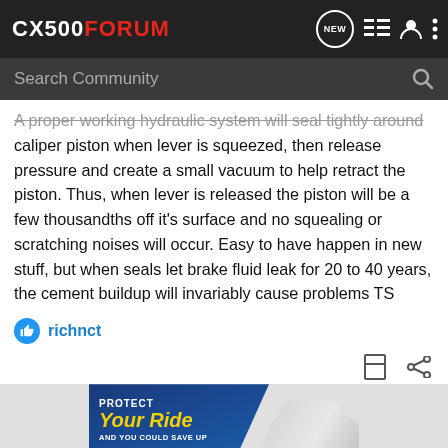CX500FORUM
A proper working hydraulic system will seal tightly around caliper piston when lever is squeezed, then release pressure and create a small vacuum to help retract the piston. Thus, when lever is released the piston will be a few thousandths off it's surface and no squealing or scratching noises will occur. Easy to have happen in new stuff, but when seals let brake fluid leak for 20 to 40 years, the cement buildup will invariably cause problems TS
richnct
[Figure (screenshot): Advertisement banner: PROTECT Your Ride AND YOU COULD SAVE UP - showing a car on a blue diagonal background]